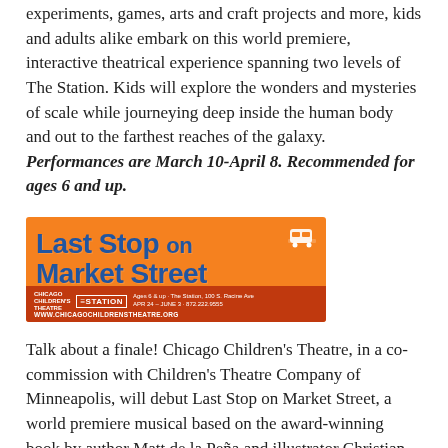experiments, games, arts and craft projects and more, kids and adults alike embark on this world premiere, interactive theatrical experience spanning two levels of The Station. Kids will explore the wonders and mysteries of scale while journeying deep inside the human body and out to the farthest reaches of the galaxy. Performances are March 10-April 8. Recommended for ages 6 and up.
[Figure (illustration): Advertisement for 'Last Stop on Market Street' at The Station, Chicago Children's Theatre. Orange background with bold blue text. APR 24 - JUNE 3, 872.222.9555, www.chicagochildrenstheatre.org]
Talk about a finale! Chicago Children's Theatre, in a co-commission with Children's Theatre Company of Minneapolis, will debut Last Stop on Market Street, a world premiere musical based on the award-winning book by author Matt de la Peña and illustrator Christian Robinson, winner of the 2016 Newbery Medal, a 2016 Caldecott Honor Book and a 2016 Coretta Scott King Illustrator Honor Book.